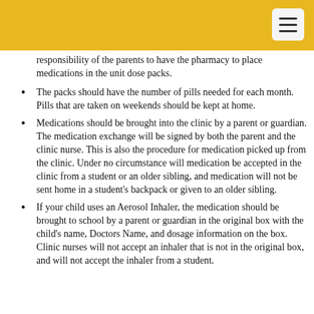responsibility of the parents to have the pharmacy to place medications in the unit dose packs.
The packs should have the number of pills needed for each month. Pills that are taken on weekends should be kept at home.
Medications should be brought into the clinic by a parent or guardian. The medication exchange will be signed by both the parent and the clinic nurse. This is also the procedure for medication picked up from the clinic. Under no circumstance will medication be accepted in the clinic from a student or an older sibling, and medication will not be sent home in a student's backpack or given to an older sibling.
If your child uses an Aerosol Inhaler, the medication should be brought to school by a parent or guardian in the original box with the child's name, Doctors Name, and dosage information on the box. Clinic nurses will not accept an inhaler that is not in the original box, and will not accept the inhaler from a student.